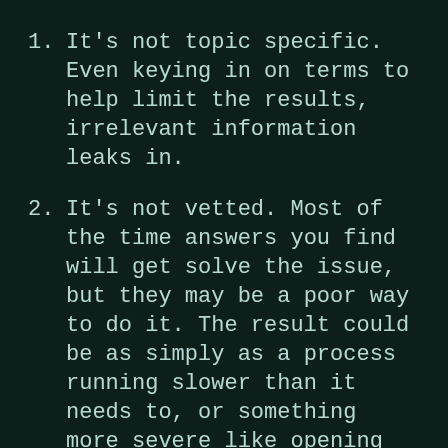1. It's not topic specific. Even keying in on terms to help limit the results, irrelevant information leaks in.
2. It's not vetted. Most of the time answers you find will get solve the issue, but they may be a poor way to do it. The result could be as simply as a process running slower than it needs to, or something more severe like opening up a security hole.
3. It may not be up to date. Technology moves fast. The answer you find that worked for version 1.0 may not work or cause issues in...